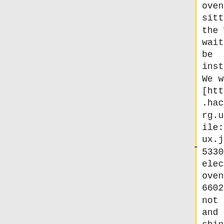oven? It is sitting in the Workshop waiting to be installed. We won this [http://wiki.hackspace.org.uk/wiki/File:Electrolux.jpg EOU 5330 W electrolux oven & EHP 6602 K hob], not single and not as shiny as the Neff hob but better than it looks in
oven? It is sitting in the Workshop waiting to be installed. We won this [http://wiki.hackspace.org.uk/wiki/File:Electrolux.jpg EOU 5330 W electrolux oven & EHP 6602 K hob], not single and not as shiny as the Neff hob but better than it looks in